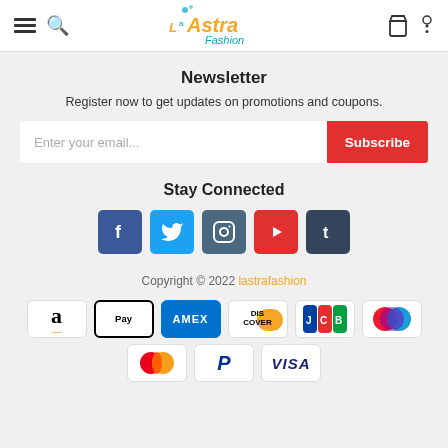[Figure (logo): La Astra Fashion logo with orange stylized text and teal 'Fashion' subtitle]
Newsletter
Register now to get updates on promotions and coupons.
Enter your email... Subscribe
Stay Connected
[Figure (infographic): Social media icons: Facebook, Twitter, Instagram, YouTube, Tumblr]
Copyright © 2022 lastrafashion
[Figure (infographic): Payment method logos: Amazon, Apple Pay, AMEX, Discover, JCB, Mastercard circles, Mastercard, PayPal, VISA]